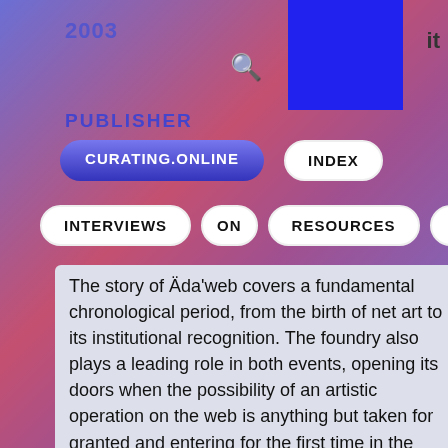2003
en   it
PUBLISHER
CURATING.ONLINE
INDEX
INTERVIEWS
ON
RESOURCES
EVENTS
The story of Äda'web covers a fundamental chronological period, from the birth of net art to its institutional recognition. The foundry also plays a leading role in both events, opening its doors when the possibility of an artistic operation on the web is anything but taken for granted and entering for the first time in the collection of a museum. Thus Äda'web raises the problematic issue of the relationship between net art and institutions, and the burning issue of the preservation of net art and all ephemeral art. The history of video art teaches us that a new means of